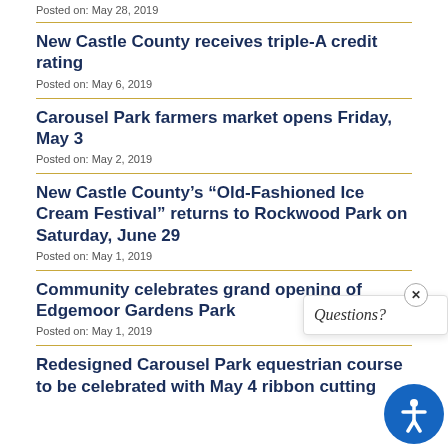Posted on: May 28, 2019
New Castle County receives triple-A credit rating
Posted on: May 6, 2019
Carousel Park farmers market opens Friday, May 3
Posted on: May 2, 2019
New Castle County's “Old-Fashioned Ice Cream Festival” returns to Rockwood Park on Saturday, June 29
Posted on: May 1, 2019
Community celebrates grand opening of Edgemoor Gardens Park
Posted on: May 1, 2019
Redesigned Carousel Park equestrian course to be celebrated with May 4 ribbon cutting